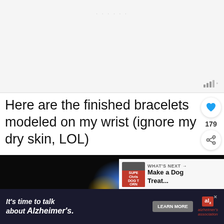[Figure (other): Blank/placeholder image area with faint watermark text and signal bar icon in bottom right]
Here are the finished bracelets modeled on my wrist (ignore my dry skin, LOL)
[Figure (photo): Dark background photo with glowing blue and gold light effect, with a 'WHAT'S NEXT - Make a Dog Treat...' overlay panel, an Alzheimer's awareness ad banner at the bottom reading 'It's time to talk about Alzheimer's.' with LEARN MORE button, and a blue accessibility icon button]
WHAT'S NEXT → Make a Dog Treat...
It's time to talk about Alzheimer's.